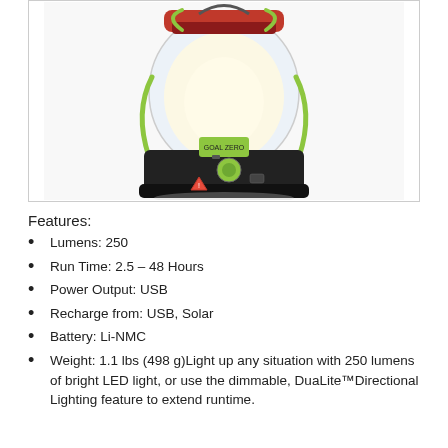[Figure (photo): Photo of a Goal Zero LED lantern with green accents, clear globe, and black base with controls including a dial and USB port]
Features:
Lumens: 250
Run Time: 2.5 – 48 Hours
Power Output: USB
Recharge from: USB, Solar
Battery: Li-NMC
Weight: 1.1 lbs (498 g)Light up any situation with 250 lumens of bright LED light, or use the dimmable, DuaLite™Directional Lighting feature to extend runtime.